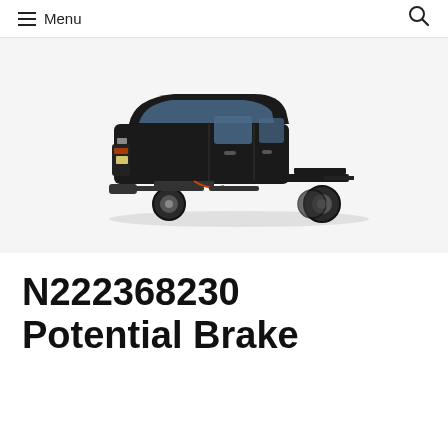≡ Menu   🔍
[Figure (illustration): Side profile of a black heavy-duty Chevrolet truck chassis cab (no bed) on white/light gray background]
N222368230 Potential Brake